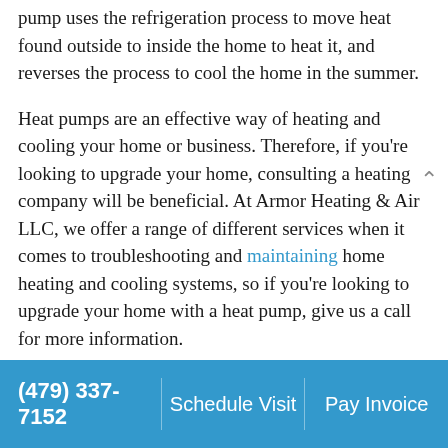pump uses the refrigeration process to move heat found outside to inside the home to heat it, and reverses the process to cool the home in the summer.

Heat pumps are an effective way of heating and cooling your home or business. Therefore, if you're looking to upgrade your home, consulting a heating company will be beneficial. At Armor Heating & Air LLC, we offer a range of different services when it comes to troubleshooting and maintaining home heating and cooling systems, so if you're looking to upgrade your home with a heat pump, give us a call for more information.
(479) 337-7152   Schedule Visit   Pay Invoice